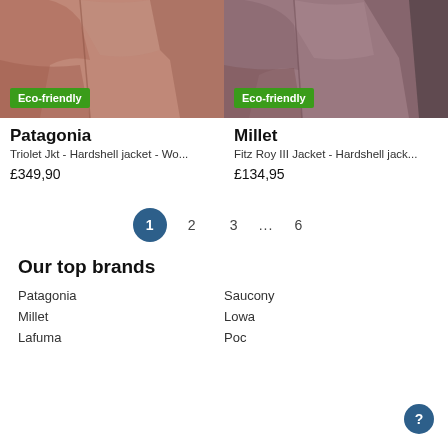[Figure (photo): Patagonia Triolet Jkt hardshell jacket in reddish-brown color with Eco-friendly badge]
[Figure (photo): Millet Fitz Roy III Jacket hardshell jacket in mauve/dark rose color with Eco-friendly badge]
Patagonia
Triolet Jkt - Hardshell jacket - Wo...
£349,90
Millet
Fitz Roy III Jacket - Hardshell jack...
£134,95
1
2
3
...
6
Our top brands
Patagonia
Millet
Lafuma
Saucony
Lowa
Poc